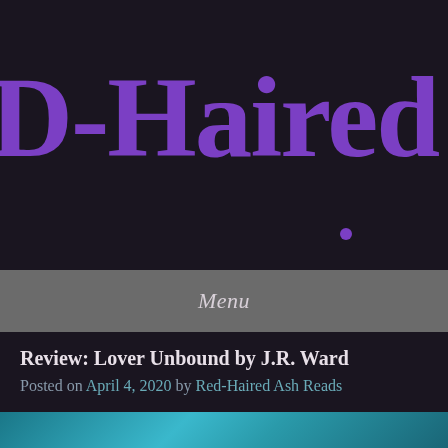D-Haired A
Menu
Review: Lover Unbound by J.R. Ward
Posted on April 4, 2020 by Red-Haired Ash Reads
[Figure (photo): Teal/turquoise abstract or cover image at bottom of page]